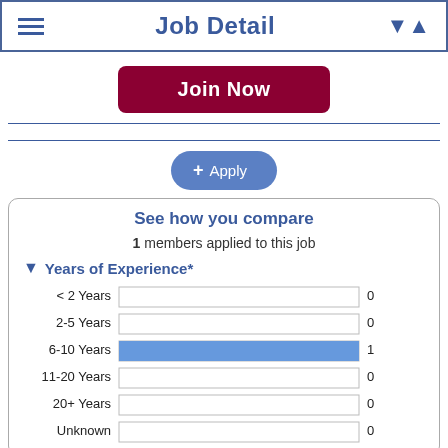Job Detail
Join Now
+ Apply
See how you compare
1 members applied to this job
Years of Experience*
[Figure (bar-chart): Years of Experience*]